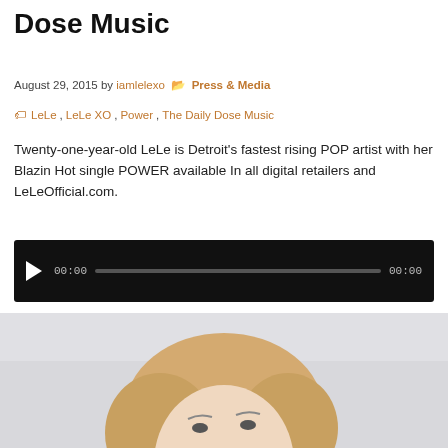Dose Music
August 29, 2015 by iamlelexo  Press & Media
LeLe, LeLe XO, Power, The Daily Dose Music
Twenty-one-year-old LeLe is Detroit's fastest rising POP artist with her Blazin Hot single POWER available In all digital retailers and LeLeOfficial.com.
[Figure (screenshot): Audio player widget with dark background, play button, time display showing 00:00, progress bar, and end time 00:00]
[Figure (photo): Photo of a young blonde woman from the shoulders up, light background, partial view cropped at bottom of page]